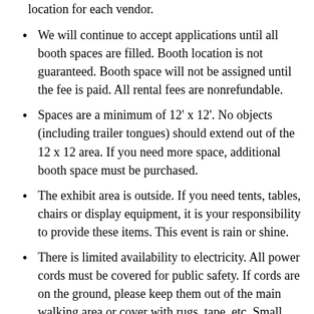location for each vendor.
We will continue to accept applications until all booth spaces are filled. Booth location is not guaranteed. Booth space will not be assigned until the fee is paid. All rental fees are nonrefundable.
Spaces are a minimum of 12' x 12'. No objects (including trailer tongues) should extend out of the 12 x 12 area. If you need more space, additional booth space must be purchased.
The exhibit area is outside. If you need tents, tables, chairs or display equipment, it is your responsibility to provide these items. This event is rain or shine.
There is limited availability to electricity. All power cords must be covered for public safety. If cords are on the ground, please keep them out of the main walking area or cover with rugs, tape, etc. Small inverter (quiet)